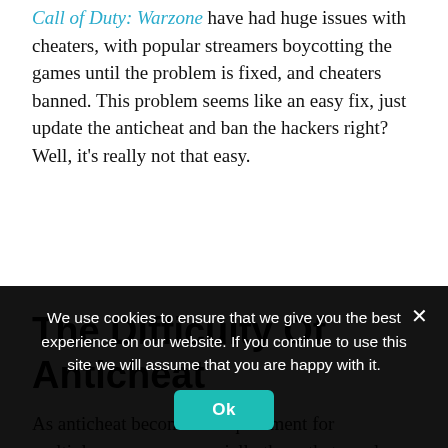Call of Duty: Warzone have had huge issues with cheaters, with popular streamers boycotting the games until the problem is fixed, and cheaters banned. This problem seems like an easy fix, just update the anticheat and ban the hackers right? Well, it's really not that easy.
The Difficulty Of Anticheat
As anticheat becomes a requirement for multiplayer games, especially those that employ crossplay, many expect these systems to be strong enough to hold in the face of cheaters. However, the problem is that as the anticheat becomes more
We use cookies to ensure that we give you the best experience on our website. If you continue to use this site we will assume that you are happy with it.